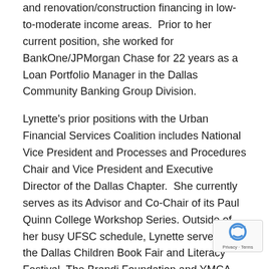and renovation/construction financing in low-to-moderate income areas.  Prior to her current position, she worked for BankOne/JPMorgan Chase for 22 years as a Loan Portfolio Manager in the Dallas Community Banking Group Division.
Lynette's prior positions with the Urban Financial Services Coalition includes National Vice President and Processes and Procedures Chair and Vice President and Executive Director of the Dallas Chapter.  She currently serves as its Advisor and Co-Chair of its Paul Quinn College Workshop Series.  Outside of her busy UFSC schedule, Lynette serves on the Dallas Children Book Fair and Literacy Festival, The Brandi Foundation and YMCA Southern Sect— Advisory Board.
Lynette has found happiness in the second half of her